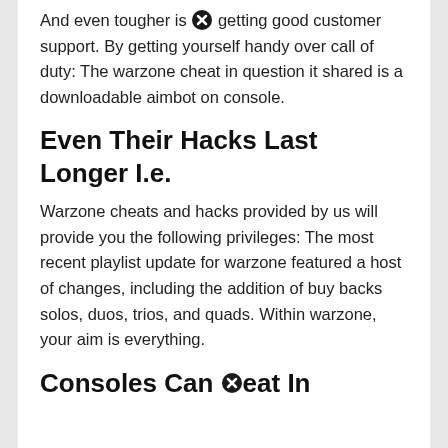And even tougher is getting good customer support. By getting yourself handy over call of duty: The warzone cheat in question it shared is a downloadable aimbot on console.
Even Their Hacks Last Longer I.e.
Warzone cheats and hacks provided by us will provide you the following privileges: The most recent playlist update for warzone featured a host of changes, including the addition of buy backs solos, duos, trios, and quads. Within warzone, your aim is everything.
Consoles Can Cheat In